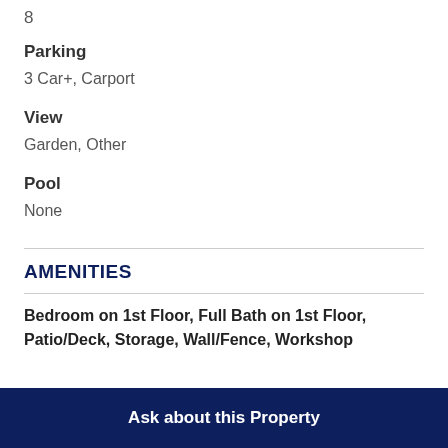8
Parking
3 Car+, Carport
View
Garden, Other
Pool
None
AMENITIES
Bedroom on 1st Floor, Full Bath on 1st Floor, Patio/Deck, Storage, Wall/Fence, Workshop
Ask about this Property